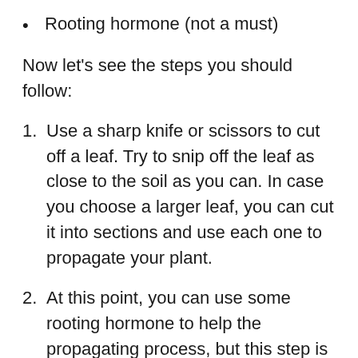Rooting hormone (not a must)
Now let’s see the steps you should follow:
Use a sharp knife or scissors to cut off a leaf. Try to snip off the leaf as close to the soil as you can. In case you choose a larger leaf, you can cut it into sections and use each one to propagate your plant.
At this point, you can use some rooting hormone to help the propagating process, but this step is optional.
After you cut the leaf you want to